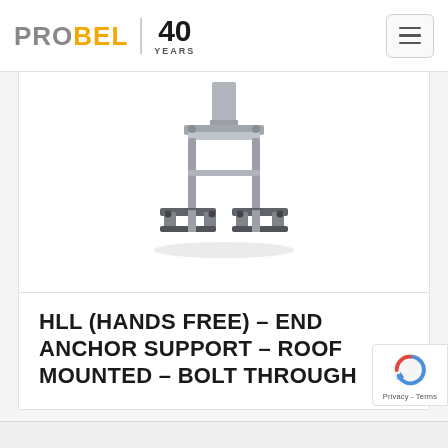[Figure (logo): PROBEL logo with '40 YEARS' badge and hamburger menu button]
[Figure (photo): HLL Hands Free End Anchor Support – Roof Mounted – Bolt Through product photo showing a metal post anchor bracket with four bolt-through feet on a square base frame]
HLL (HANDS FREE) – END ANCHOR SUPPORT – ROOF MOUNTED – BOLT THROUGH